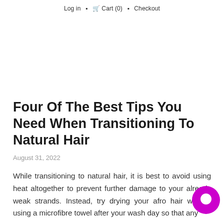Log in  Cart (0)  Checkout
Four Of The Best Tips You Need When Transitioning To Natural Hair
August 31, 2022
While transitioning to natural hair, it is best to avoid using heat altogether to prevent further damage to your already weak strands. Instead, try drying your afro hair without using a microfibre towel after your wash day so that any